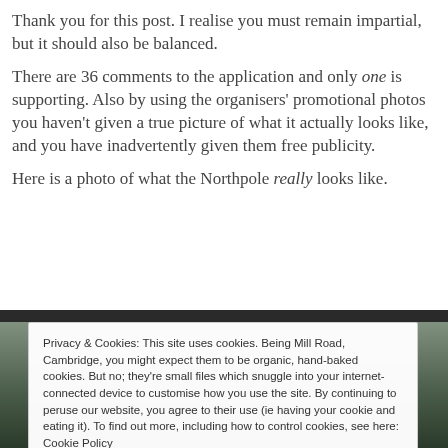Thank you for this post. I realise you must remain impartial, but it should also be balanced.
There are 36 comments to the application and only one is supporting. Also by using the organisers’ promotional photos you haven’t given a true picture of what it actually looks like, and you have inadvertently given them free publicity.
Here is a photo of what the Northpole really looks like.
[Figure (photo): Dark outdoor photo partially obscured by cookie consent overlay showing a scene near the Northpole, Cambridge]
Privacy & Cookies: This site uses cookies. Being Mill Road, Cambridge, you might expect them to be organic, hand-baked cookies. But no; they're small files which snuggle into your internet-connected device to customise how you use the site. By continuing to peruse our website, you agree to their use (ie having your cookie and eating it). To find out more, including how to control cookies, see here: Cookie Policy
Accept (munch-munch)